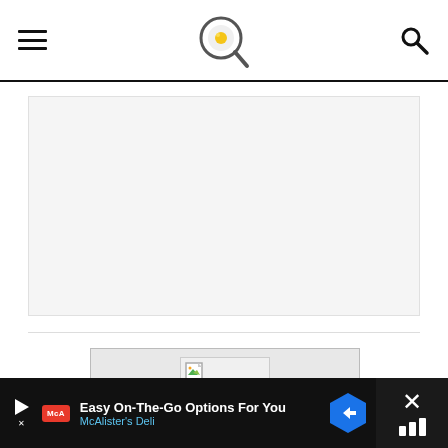Website header with hamburger menu, logo (magnifying glass with egg icon), and search icon
[Figure (other): Large advertisement placeholder area, light gray background with border]
[Figure (other): Second advertisement placeholder area with broken image icon, gray background]
[Figure (other): Bottom banner advertisement: McAlister's Deli - Easy On-The-Go Options For You]